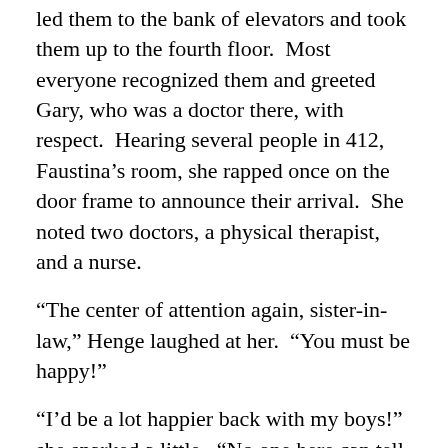led them to the bank of elevators and took them up to the fourth floor.  Most everyone recognized them and greeted Gary, who was a doctor there, with respect.  Hearing several people in 412, Faustina's room, she rapped once on the door frame to announce their arrival.  She noted two doctors, a physical therapist, and a nurse.
“The center of attention again, sister-in-law,” Henge laughed at her.  “You must be happy!”
“I’d be a lot happier back with my boys!” she snarked a little.  “No one here can tell me what’s going on in Savannah and there is no direct radio traffic!”
Faustina suddenly brightened at that, batting away the therapist who was trying to see the range of motion of her arms.